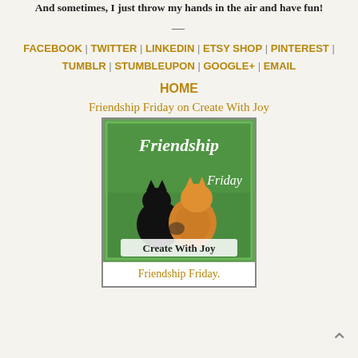And sometimes, I just throw my hands in the air and have fun!
—
FACEBOOK | TWITTER | LINKEDIN | ETSY SHOP | PINTEREST | TUMBLR | STUMBLEUPON | GOOGLE+ | EMAIL
HOME
Friendship Friday on Create With Joy
[Figure (illustration): Friendship Friday badge with two kittens (black and orange) sitting together on green background with text 'Friendship' at top, 'Friday' at right, and 'Create With Joy' at bottom.]
Friendship Friday.